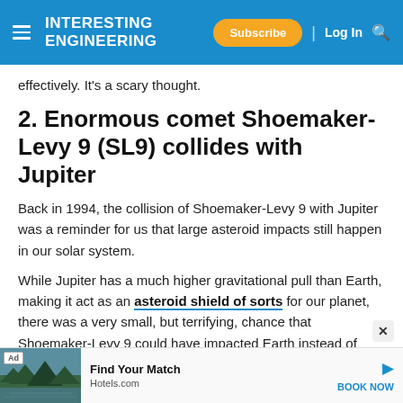INTERESTING ENGINEERING — Subscribe | Log In
effectively. It's a scary thought.
2. Enormous comet Shoemaker-Levy 9 (SL9) collides with Jupiter
Back in 1994, the collision of Shoemaker-Levy 9 with Jupiter was a reminder for us that large asteroid impacts still happen in our solar system.
While Jupiter has a much higher gravitational pull than Earth, making it act as an asteroid shield of sorts for our planet, there was a very small, but terrifying, chance that Shoemaker-Levy 9 could have impacted Earth instead of passing it by.
[Figure (photo): Hotels.com advertisement banner showing a scenic lake/forest image]
Ad — Find Your Match — Hotels.com — BOOK NOW